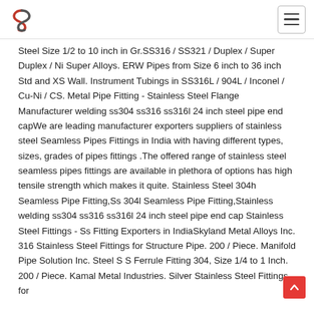Logo and navigation header
Steel Size 1/2 to 10 inch in Gr.SS316 / SS321 / Duplex / Super Duplex / Ni Super Alloys. ERW Pipes from Size 6 inch to 36 inch Std and XS Wall. Instrument Tubings in SS316L / 904L / Inconel / Cu-Ni / CS. Metal Pipe Fitting - Stainless Steel Flange Manufacturer welding ss304 ss316 ss316l 24 inch steel pipe end capWe are leading manufacturer exporters suppliers of stainless steel Seamless Pipes Fittings in India with having different types, sizes, grades of pipes fittings .The offered range of stainless steel seamless pipes fittings are available in plethora of options has high tensile strength which makes it quite. Stainless Steel 304h Seamless Pipe Fitting,Ss 304l Seamless Pipe Fitting,Stainless welding ss304 ss316 ss316l 24 inch steel pipe end cap Stainless Steel Fittings - Ss Fitting Exporters in IndiaSkyland Metal Alloys Inc. 316 Stainless Steel Fittings for Structure Pipe. 200 / Piece. Manifold Pipe Solution Inc. Steel S S Ferrule Fitting 304, Size 1/4 to 1 Inch. 200 / Piece. Kamal Metal Industries. Silver Stainless Steel Fittings for